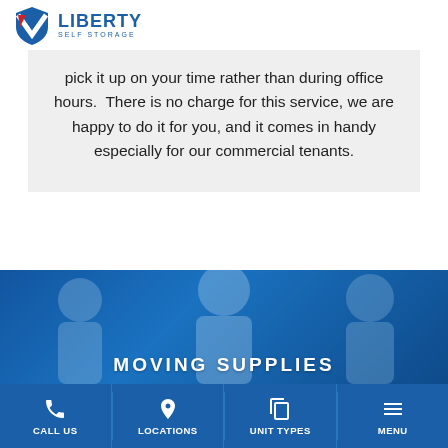LIBERTY SELF STORAGE
pick it up on your time rather than during office hours.  There is no charge for this service, we are happy to do it for you, and it comes in handy especially for our commercial tenants.
MOVING SUPPLIES
CALL US  LOCATIONS  UNIT TYPES  MENU